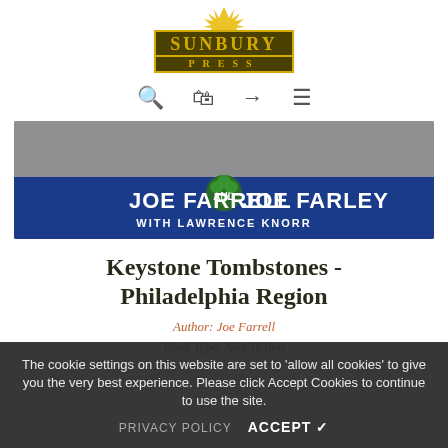[Figure (logo): Sunbury Press logo with sun rays above text, gold text on dark background]
[Figure (illustration): Navigation bar with search, cart, login, and menu icons]
[Figure (illustration): Book banner showing black and white historical photo background with blue banner overlay reading JOE FARRELL AND JOE FARLEY WITH LAWRENCE KNORR and a shamrock graphic]
Keystone Tombstones - Philadelphia Region
Author: Joe Farrell
Book Type: Non-fiction
The cookie settings on this website are set to 'allow all cookies' to give you the very best experience. Please click Accept Cookies to continue to use the site.
PRIVACY POLICY   ACCEPT ✓